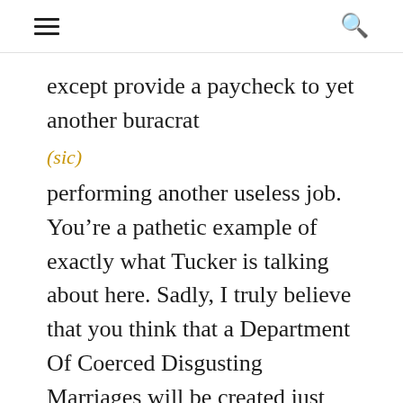≡  🔍
except provide a paycheck to yet another buracrat
(sic)
performing another useless job. You're a pathetic example of exactly what Tucker is talking about here. Sadly, I truly believe that you think that a Department Of Coerced Disgusting Marriages will be created just for this new law.